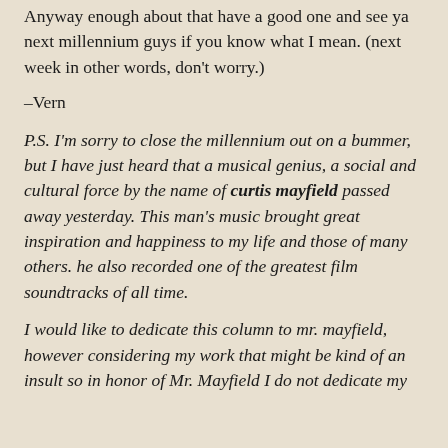Anyway enough about that have a good one and see ya next millennium guys if you know what I mean. (next week in other words, don't worry.)
–Vern
P.S. I'm sorry to close the millennium out on a bummer, but I have just heard that a musical genius, a social and cultural force by the name of curtis mayfield passed away yesterday. This man's music brought great inspiration and happiness to my life and those of many others. he also recorded one of the greatest film soundtracks of all time.
I would like to dedicate this column to mr. mayfield, however considering my work that might be kind of an insult so in honor of Mr. Mayfield I do not dedicate my